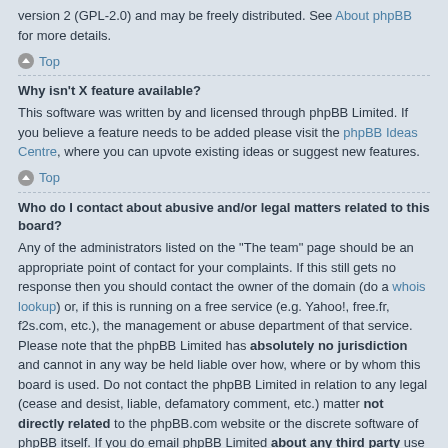version 2 (GPL-2.0) and may be freely distributed. See About phpBB for more details.
Top
Why isn't X feature available?
This software was written by and licensed through phpBB Limited. If you believe a feature needs to be added please visit the phpBB Ideas Centre, where you can upvote existing ideas or suggest new features.
Top
Who do I contact about abusive and/or legal matters related to this board?
Any of the administrators listed on the “The team” page should be an appropriate point of contact for your complaints. If this still gets no response then you should contact the owner of the domain (do a whois lookup) or, if this is running on a free service (e.g. Yahoo!, free.fr, f2s.com, etc.), the management or abuse department of that service. Please note that the phpBB Limited has absolutely no jurisdiction and cannot in any way be held liable over how, where or by whom this board is used. Do not contact the phpBB Limited in relation to any legal (cease and desist, liable, defamatory comment, etc.) matter not directly related to the phpBB.com website or the discrete software of phpBB itself. If you do email phpBB Limited about any third party use of this software then you should expect a terse response or no response at all.
Top